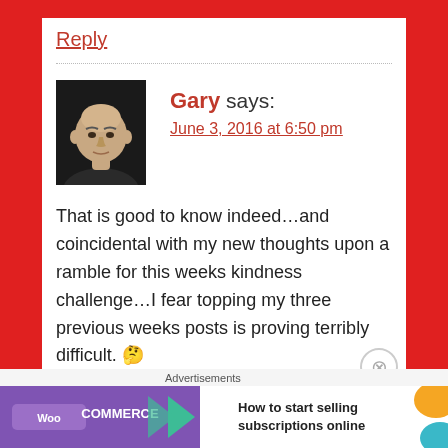Reply
[Figure (photo): Avatar photo of Gary — a bald man with a dark jacket against a dark background]
Gary says:
June 3, 2016 at 6:50 pm
That is good to know indeed…and coincidental with my new thoughts upon a ramble for this weeks kindness challenge…I fear topping my three previous weeks posts is proving terribly difficult. 🤔
Liked by 2 people
Advertisements
[Figure (screenshot): WooCommerce advertisement banner: purple WooCommerce logo with arrow, text 'How to start selling subscriptions online', orange/teal decorative shapes]